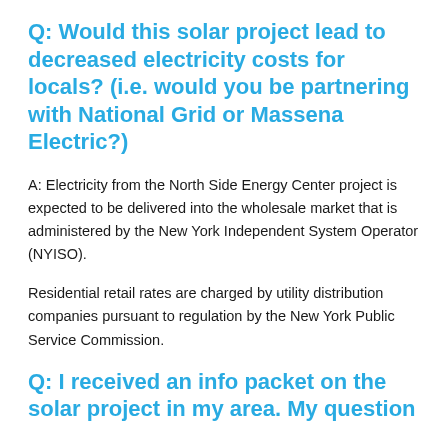Q: Would this solar project lead to decreased electricity costs for locals? (i.e. would you be partnering with National Grid or Massena Electric?)
A: Electricity from the North Side Energy Center project is expected to be delivered into the wholesale market that is administered by the New York Independent System Operator (NYISO).
Residential retail rates are charged by utility distribution companies pursuant to regulation by the New York Public Service Commission.
Q: I received an info packet on the solar project in my area. My question